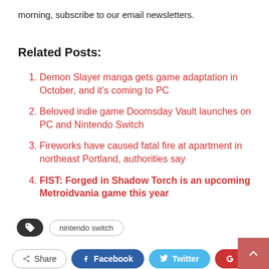morning, subscribe to our email newsletters.
Related Posts:
Demon Slayer manga gets game adaptation in October, and it's coming to PC
Beloved indie game Doomsday Vault launches on PC and Nintendo Switch
Fireworks have caused fatal fire at apartment in northeast Portland, authorities say
FIST: Forged in Shadow Torch is an upcoming Metroidvania game this year
nintendo switch
Share  Facebook  Twitter  Google+